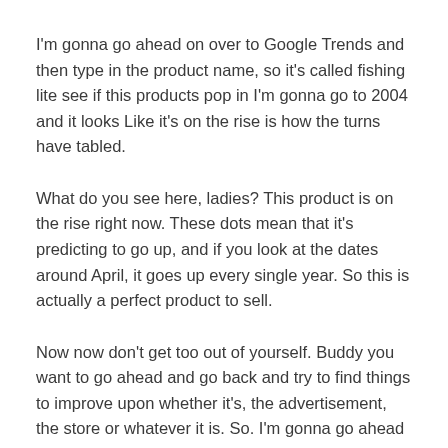I'm gonna go ahead on over to Google Trends and then type in the product name, so it's called fishing lite see if this products pop in I'm gonna go to 2004 and it looks Like it's on the rise is how the turns have tabled.
What do you see here, ladies? This product is on the rise right now. These dots mean that it's predicting to go up, and if you look at the dates around April, it goes up every single year. So this is actually a perfect product to sell.
Now now don't get too out of yourself. Buddy you want to go ahead and go back and try to find things to improve upon whether it's, the advertisement, the store or whatever it is. So. I'm gonna go ahead to the advertisement check out their ad.